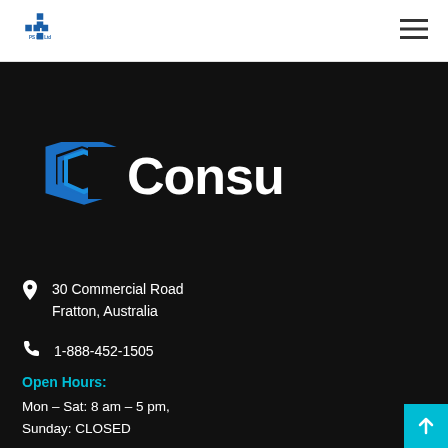[Figure (logo): PS ITT Ltd company logo — blue cross/plus symbol with 'PS ITT Ltd' text below]
[Figure (logo): Hamburger menu icon — three horizontal lines]
[Figure (logo): Consultio brand logo — blue hexagonal C mark with white bold text 'Consultio']
30 Commercial Road
Fratton, Australia
1-888-452-1505
Open Hours:
Mon – Sat: 8 am – 5 pm,
Sunday: CLOSED